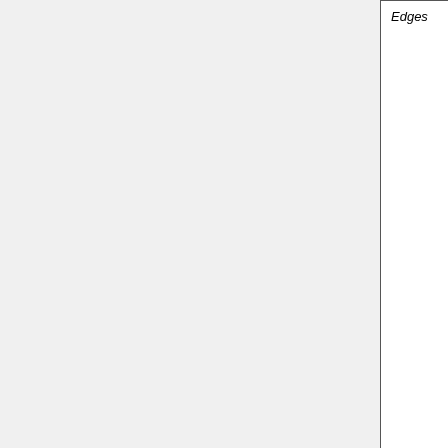| Variable/Method | Reference | Notes |
| --- | --- | --- |
| Edges | hep-ph/9610544[5] (lots) | d c G r b n p fi p e s (l h lu |
| M_T2 | hep-ph/9906349[7] |  |
| M_T2 kink ("stransverse" mass) | arXiv:0709.0288[8] | 4 s n |
| M_Tn |  | 4 s |